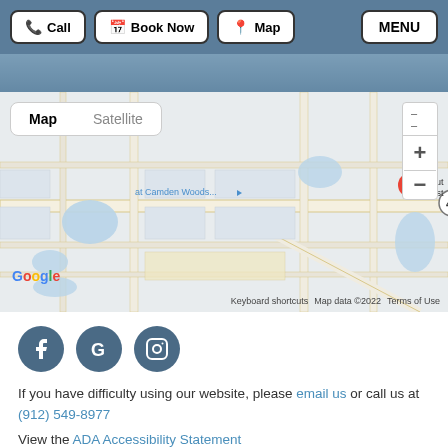Call | Book Now | Map | MENU
[Figure (map): Google Map showing location of Ship 2 Shore Seafood & Steaks near Camden Woods, with a red pin marker. Map/Satellite toggle, zoom controls, and Walmart Supercenter visible. Google branding and 'Map data ©2022 Terms of Use' shown.]
[Figure (other): Social media icons: Facebook (F), Google (G), Instagram (camera icon) — three dark teal circles]
If you have difficulty using our website, please email us or call us at (912) 549-8977
View the ADA Accessibility Statement
Turn on ADA Views